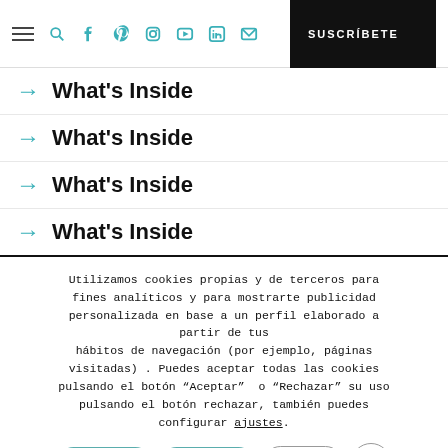Navigation bar with hamburger menu, search, social icons (Facebook, Pinterest, Instagram, YouTube, LinkedIn, email) and SUSCRÍBETE button
→ What's Inside
→ What's Inside
→ What's Inside
→ What's Inside
Utilizamos cookies propias y de terceros para fines analíticos y para mostrarte publicidad personalizada en base a un perfil elaborado a partir de tus hábitos de navegación (por ejemplo, páginas visitadas) . Puedes aceptar todas las cookies pulsando el botón "Aceptar"  o "Rechazar" su uso pulsando el botón rechazar, también puedes configurar ajustes.
Aceptar   Rechazar   Ajustes   ✕